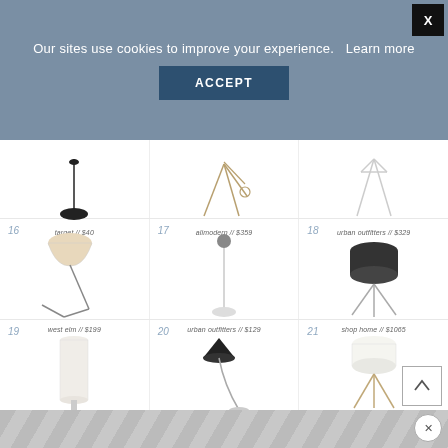Our sites use cookies to improve your experience.   Learn more
ACCEPT
[Figure (illustration): Floor lamp, thin stem with round black base - target // $40]
target // $40
[Figure (illustration): Tripod-style floor lamp in gold/brass - alimodern // $359]
alimodern // $359
[Figure (illustration): Minimalist white tripod floor lamp - urban outfitters // $329]
urban outfitters // $329
[Figure (illustration): 16 - Angled arm floor lamp with cream shade - west elm // $199]
west elm // $199
[Figure (illustration): 17 - Tall arc floor lamp with small shade - urban outfitters // $129]
urban outfitters // $129
[Figure (illustration): 18 - Tripod floor lamp with dark drum shade - shop home // $1065]
shop home // $1065
[Figure (illustration): 19 - Tall cylindrical paper/fabric floor lamp]
[Figure (illustration): 20 - Arc floor lamp with cone shade in black]
[Figure (illustration): 21 - Tripod floor lamp with white drum shade]